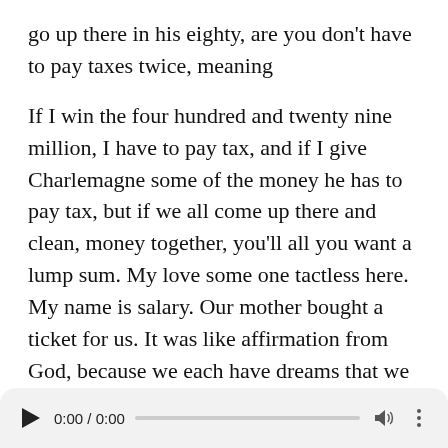go up there in his eighty, are you don't have to pay taxes twice, meaning
If I win the four hundred and twenty nine million, I have to pay tax, and if I give Charlemagne some of the money he has to pay tax, but if we all come up there and clean, money together, you'll all you want a lump sum. My love some one tactless here. My name is salary. Our mother bought a ticket for us. It was like affirmation from God, because we each have dreams that we want to fulfil in this life and do for our community and do for each other and our families, and it was like well, we have been funded to do that. That's what we're gonna do work and our communities and work enough? Oh god bless you imagine how they do for the community from afar molested afterwards
[Figure (other): Audio player bar showing play button, time 0:00 / 0:00, progress bar, volume icon, and more options icon]